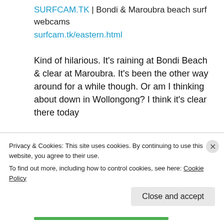SURFCAM.TK | Bondi & Maroubra beach surf webcams
surfcam.tk/eastern.html
Kind of hilarious. It's raining at Bondi Beach & clear at Maroubra. It's been the other way around for a while though. Or am I thinking about down in Wollongong? I think it's clear there today
[Figure (screenshot): Preview card showing surfcam.tk with a document/page icon on the left and text 'surfcam.tk' and 'SURFCA' on the right]
Privacy & Cookies: This site uses cookies. By continuing to use this website, you agree to their use.
To find out more, including how to control cookies, see here: Cookie Policy
Close and accept